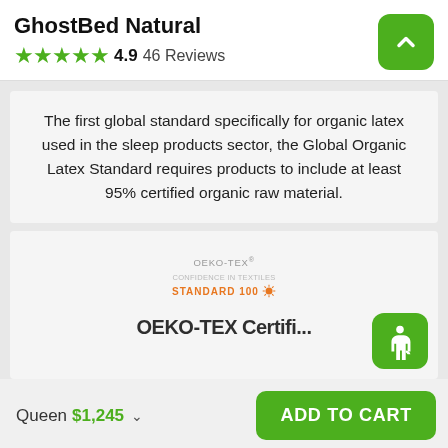GhostBed Natural
★★★★★ 4.9  46 Reviews
The first global standard specifically for organic latex used in the sleep products sector, the Global Organic Latex Standard requires products to include at least 95% certified organic raw material.
[Figure (logo): OEKO-TEX® STANDARD 100 logo in orange/amber text with a sun icon, partially visible text below reading 'OEKO-TEX Certifi...']
Queen  $1,245  ∨
ADD TO CART